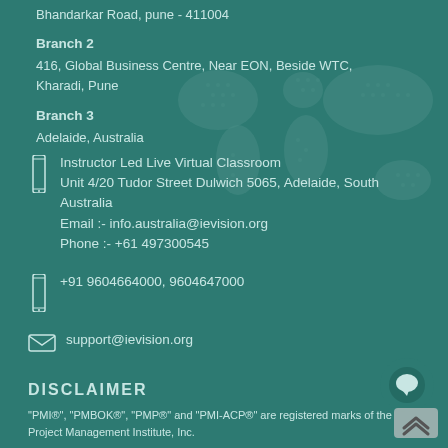Bhandarkar Road, pune - 411004
Branch 2
416, Global Business Centre, Near EON, Beside WTC, Kharadi, Pune
Branch 3
Adelaide, Australia
Instructor Led Live Virtual Classroom
Unit 4/20 Tudor Street Dulwich 5065, Adelaide, South Australia
Email :- info.australia@ievision.org
Phone :- +61 497300545
+91 9604664000, 9604647000
support@ievision.org
DISCLAIMER
"PMI®", "PMBOK®", "PMP®" and "PMI-ACP®" are registered marks of the Project Management Institute, Inc.